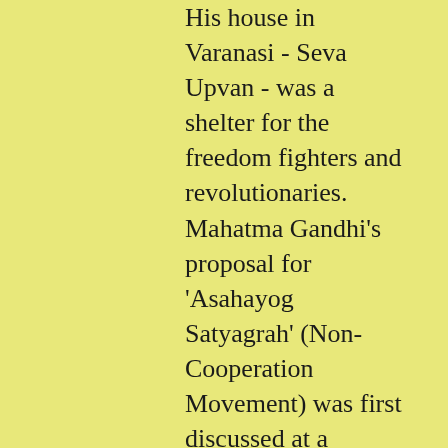His house in Varanasi - Seva Upvan - was a shelter for the freedom fighters and revolutionaries. Mahatma Gandhi's proposal for 'Asahayog Satyagrah' (Non-Cooperation Movement) was first discussed at a meeting of the Congress Working Committee at Seva Upvan. Guptaji spread te message of the National Movement through a Hindi daily - Aj - which he began publishing from Varanasi. It continues to be published in seven cities of U.P. and Bihar. He also started the Kashi Vidyapeeth